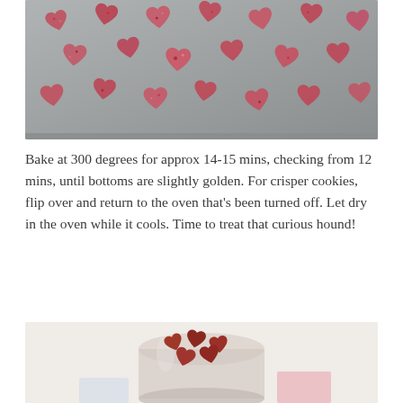[Figure (photo): Heart-shaped pink/red cookies with sprinkles arranged on a gray baking sheet, viewed from above at an angle.]
Bake at 300 degrees for approx 14-15 mins, checking from 12 mins, until bottoms are slightly golden. For crisper cookies, flip over and return to the oven that’s been turned off. Let dry in the oven while it cools. Time to treat that curious hound!
[Figure (photo): Heart-shaped cookies piled in a glass jar on a white background with a pink card partially visible.]